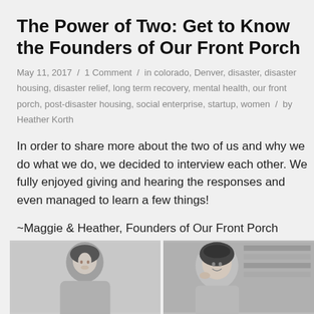The Power of Two: Get to Know the Founders of Our Front Porch
May 11, 2017 / 1 Comment / in colorado, Denver, disaster, disaster housing, disaster relief, long term recovery, mental health, our front porch, post-disaster housing, social enterprise, startup, women / by Heather Korth
In order to share more about the two of us and why we do what we do, we decided to interview each other. We fully enjoyed giving and hearing the responses and even managed to learn a few things!
~Maggie & Heather, Founders of Our Front Porch
[Figure (photo): Two side-by-side black and white photos of two women, partially cropped at the bottom of the page. Left photo shows a woman with dark hair looking down. Right photo shows a woman smiling, holding something near her face.]